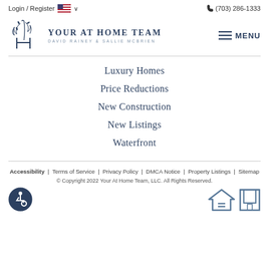Login / Register  🇺🇸 ∨   (703) 286-1333
[Figure (logo): Your At Home Team logo — stylized monogram with floral/script design, text: YOUR AT HOME TEAM, DAVID RAINEY & SALLIE MCBRIEN]
Luxury Homes
Price Reductions
New Construction
New Listings
Waterfront
Accessibility | Terms of Service | Privacy Policy | DMCA Notice | Property Listings | Sitemap
© Copyright 2022 Your At Home Team, LLC. All Rights Reserved.